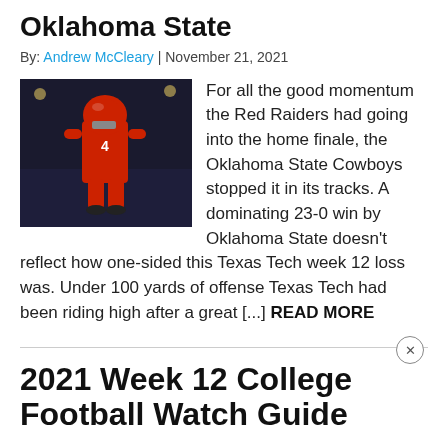Oklahoma State
By: Andrew McCleary | November 21, 2021
[Figure (photo): Football player in red uniform on field at night]
For all the good momentum the Red Raiders had going into the home finale, the Oklahoma State Cowboys stopped it in its tracks. A dominating 23-0 win by Oklahoma State doesn't reflect how one-sided this Texas Tech week 12 loss was. Under 100 yards of offense Texas Tech had been riding high after a great [...] READ MORE
2021 Week 12 College Football Watch Guide